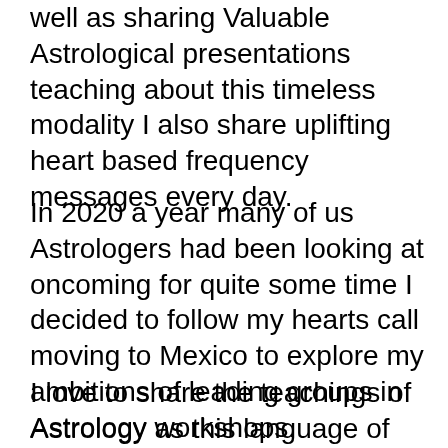well as sharing Valuable Astrological presentations teaching about this timeless modality I also share uplifting heart based frequency messages every day.
In 2020 a year many of us Astrologers had been looking at oncoming for quite some time I decided to follow my hearts call moving to Mexico to explore my ambitions of leading groups in Astrology workshops.
I love to share the teachings of Astrology as this language of the stars, all shapes signs and symbols is the handbook to the psychology of the universal mind. We gain a more broad inner standing the longer we work with the archetypes always opening up to grater wisdom & the ability to empower